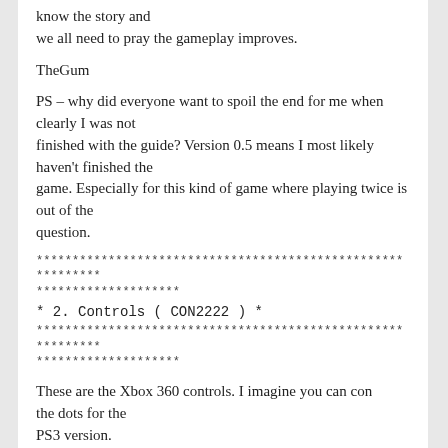know the story and
we all need to pray the gameplay improves.
TheGum
PS – why did everyone want to spoil the end for me when clearly I was not finished with the guide? Version 0.5 means I most likely haven't finished the game. Especially for this kind of game where playing twice is out of the question.
************************************************************
********************
* 2. Controls ( CON2222 ) *
************************************************************
********************
These are the Xbox 360 controls. I imagine you can con the dots for the PS3 version.